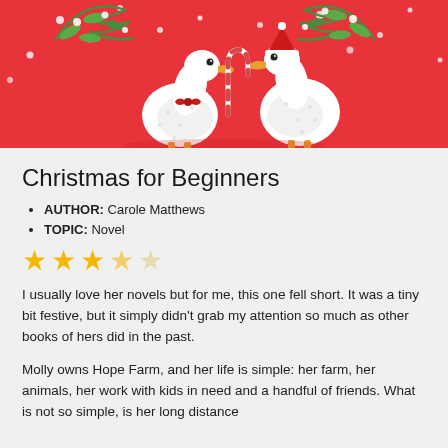[Figure (illustration): Book cover illustration on red background: two white geese/ducks wearing Christmas accessories (one with a red bow tie, one with a Santa hat), holding candy cane and greenery/holly branches, with snow dots, on a red background.]
Christmas for Beginners
AUTHOR: Carole Matthews
TOPIC: Novel
[Figure (other): Star rating: 3 full gold stars, 1 half/faded gold star, 1 empty/outline star — approximately 3.5 out of 5 stars]
I usually love her novels but for me, this one fell short. It was a tiny bit festive, but it simply didn't grab my attention so much as other books of hers did in the past.
Molly owns Hope Farm, and her life is simple: her farm, her animals, her work with kids in need and a handful of friends. What is not so simple, is her long distance